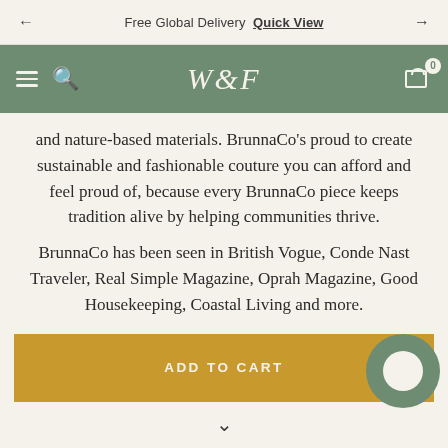Free Global Delivery  Quick View
[Figure (screenshot): Navigation bar with hamburger menu, search icon, W&F logo, and cart icon with badge 0]
and nature-based materials. BrunnaCo's proud to create sustainable and fashionable couture you can afford and feel proud of, because every BrunnaCo piece keeps tradition alive by helping communities thrive.
BrunnaCo has been seen in British Vogue, Conde Nast Traveler, Real Simple Magazine, Oprah Magazine, Good Housekeeping, Coastal Living and more.
ADD TO CART